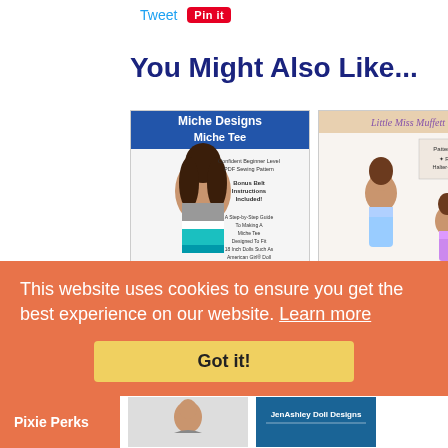Tweet | Pin it
You Might Also Like...
[Figure (photo): Miche Designs Miche Tee sewing pattern cover showing an 18-inch doll wearing a teal and white color-block t-shirt. Text: Confident Beginner Level PDF Sewing Pattern, Bonus Belt Instructions Included!, A Step-by-Step Guide To Making A Miche Tee Designed To Fit 18 Inch Dolls Such As American Girl Doll]
[Figure (photo): Little Miss Muffett Blue Moon pattern cover showing two dolls wearing blue and purple reversible halter-neck dresses. Pattern Includes Reversible Halter-Neck Dress.]
$4.99
Clothes Pattern
$5.99
This website uses cookies to ensure you get the best experience on our website. Learn more
Got it!
Pixie Perks
[Figure (photo): Small thumbnail of another doll sewing pattern]
[Figure (logo): JenAshley Doll Designs logo banner in blue]